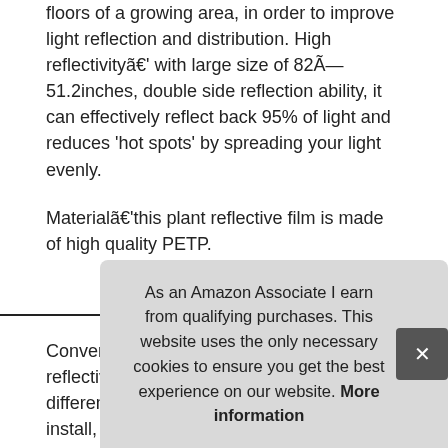floors of a growing area, in order to improve light reflection and distribution. High reflectivityã€' with large size of 82Ã—51.2inches, double side reflection ability, it can effectively reflect back 95% of light and reduces 'hot spots' by spreading your light evenly.
Materialã€'this plant reflective film is made of high quality PETP.
More information #ad
Convenient to use and storageã€'this reflective film sheet can be simply cut into different size to meet your needs. Easy to install, can be folded, directly place in the flat surface.
And... friendly... of the... used in indoor garden to reflect the light back on the plants.
As an Amazon Associate I earn from qualifying purchases. This website uses the only necessary cookies to ensure you get the best experience on our website. More information